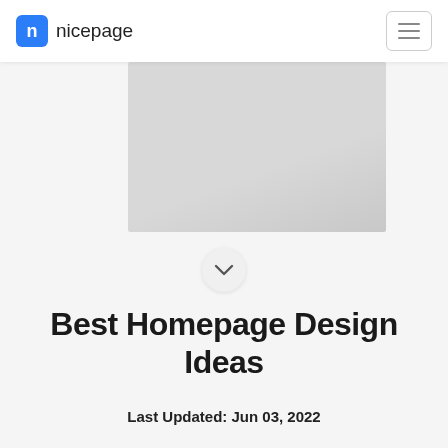nicepage
[Figure (illustration): Gray rectangular image placeholder, partially visible at top, positioned center-right]
[Figure (other): Chevron/down arrow inside a circular button]
Best Homepage Design Ideas
Last Updated: Jun 03, 2022